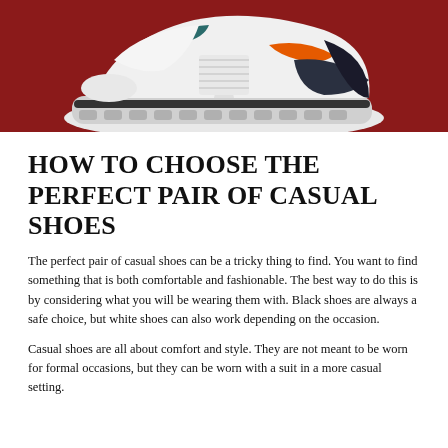[Figure (photo): A white chunky sneaker with orange and teal accents on a dark red/maroon background, photographed from above at an angle, showing the sole and upper portion of the shoe.]
HOW TO CHOOSE THE PERFECT PAIR OF CASUAL SHOES
The perfect pair of casual shoes can be a tricky thing to find. You want to find something that is both comfortable and fashionable. The best way to do this is by considering what you will be wearing them with. Black shoes are always a safe choice, but white shoes can also work depending on the occasion.
Casual shoes are all about comfort and style. They are not meant to be worn for formal occasions, but they can be worn with a suit in a more casual setting.